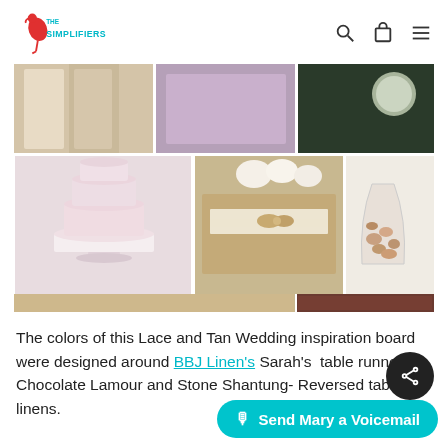The Simplifiers logo with search, cart, and menu icons
[Figure (photo): Collage of wedding inspiration photos showing lace fabric, a pink layered wedding cake, a tan invitation with lace ribbon, a vase with pebbles, and a satin table runner in chocolate brown]
The colors of this Lace and Tan Wedding inspiration board were designed around BBJ Linen's Sarah's table runner, Chocolate Lamour and Stone Shantung- Reversed table linens.